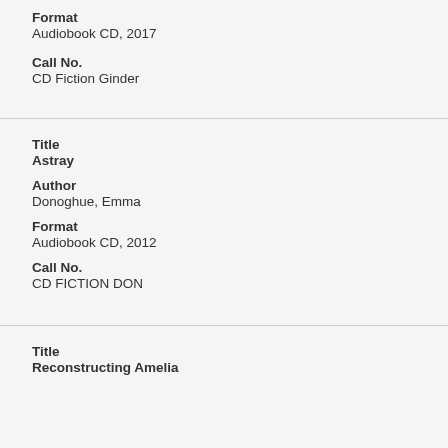Format
Audiobook CD, 2017
Call No.
CD Fiction Ginder
Title
Astray
Author
Donoghue, Emma
Format
Audiobook CD, 2012
Call No.
CD FICTION DON
Title
Reconstructing Amelia